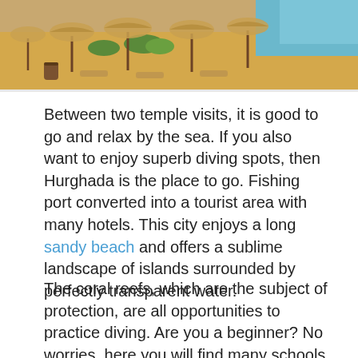[Figure (photo): Beach scene with straw umbrellas and sun loungers on sandy beach, sea visible in background]
Between two temple visits, it is good to go and relax by the sea. If you also want to enjoy superb diving spots, then Hurghada is the place to go. Fishing port converted into a tourist area with many hotels. This city enjoys a long sandy beach and offers a sublime landscape of islands surrounded by perfectly transparent water.
The coral reefs, which are the subject of protection, are all opportunities to practice diving. Are you a beginner? No worries, here you will find many schools that can